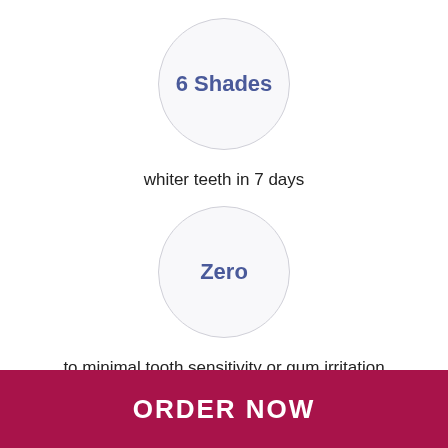[Figure (infographic): Circle badge with text '6 Shades' in blue on light grey background]
whiter teeth in 7 days
[Figure (infographic): Circle badge with text 'Zero' in blue on light grey background]
to minimal tooth sensitivity or gum irritation
[Figure (infographic): Circle badge with text 'Safe' in blue on light grey background]
ORDER NOW